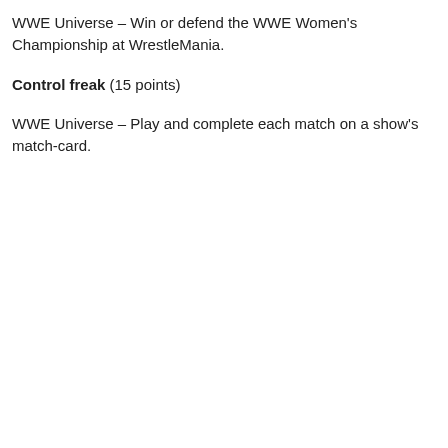WWE Universe – Win or defend the WWE Women's Championship at WrestleMania.
Control freak (15 points)
WWE Universe – Play and complete each match on a show's match-card.